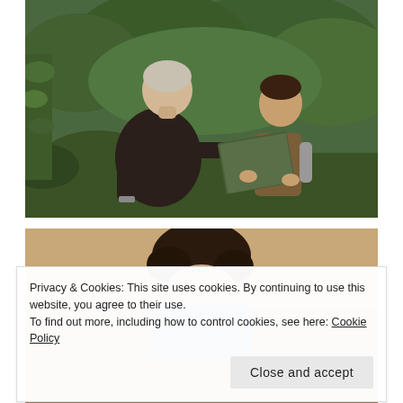[Figure (photo): An elderly man in a dark knit sweater leans over, hand to his chin in thought, looking at a green folder/book held by a young boy in a brown vest and grey shirt. They are outdoors with green hedges and trees in the background.]
[Figure (photo): Partial view of a person with dark hair, outdoors, cropped by the cookie banner overlay.]
Privacy & Cookies: This site uses cookies. By continuing to use this website, you agree to their use.
To find out more, including how to control cookies, see here: Cookie Policy
Close and accept